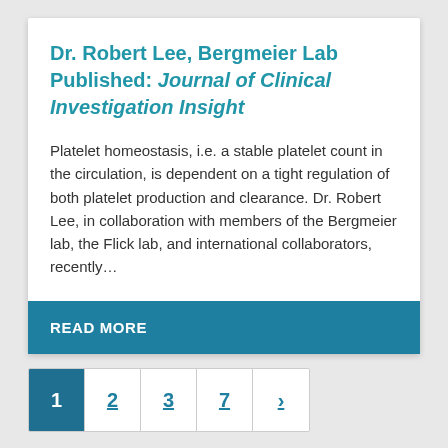Dr. Robert Lee, Bergmeier Lab Published: Journal of Clinical Investigation Insight
Platelet homeostasis, i.e. a stable platelet count in the circulation, is dependent on a tight regulation of both platelet production and clearance. Dr. Robert Lee, in collaboration with members of the Bergmeier lab, the Flick lab, and international collaborators, recently…
READ MORE